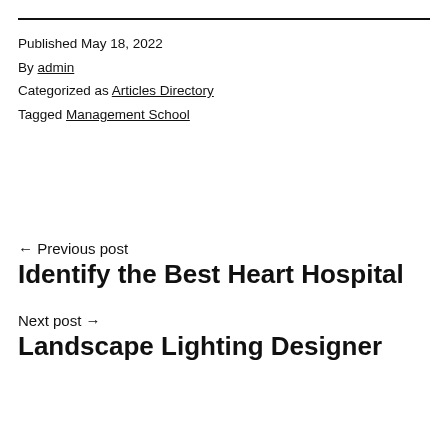Published May 18, 2022
By admin
Categorized as Articles Directory
Tagged Management School
← Previous post
Identify the Best Heart Hospital
Next post →
Landscape Lighting Designer